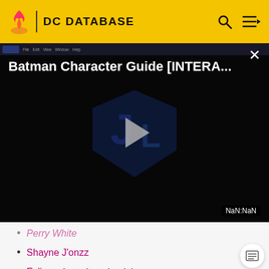DC DATABASE
[Figure (screenshot): Video player showing 'Batman Character Guide [INTERA...' with a Justice League logo thumbnail and play button, displaying NaN:NaN time]
Perry White
Shayne J'onzz
Eclipso (Mentioned only)
Jarro (Mentioned only)
Wayne Industries (Mentioned only)
Zatanna (Mentioned only)